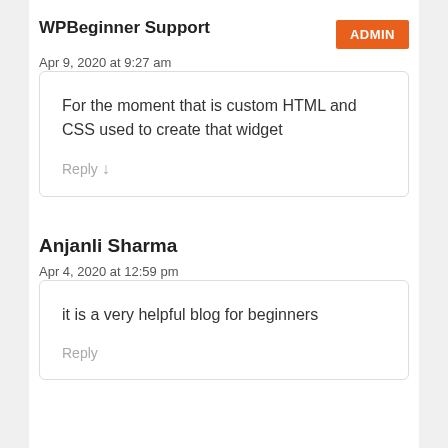WPBeginner Support
Apr 9, 2020 at 9:27 am
For the moment that is custom HTML and CSS used to create that widget
Reply
Anjanli Sharma
Apr 4, 2020 at 12:59 pm
it is a very helpful blog for beginners
Reply